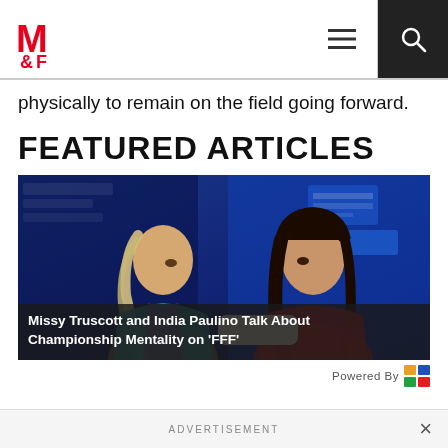M&F (Muscle & Fitness) website header with logo, hamburger menu, and search button
physically to remain on the field going forward.
FEATURED ARTICLES
[Figure (photo): Two women seated on a couch in a TV studio with blue background. Left woman has braided blonde hair and a colorful halter top; right woman has long dark hair and a red top. Caption overlay reads: Missy Truscott and India Paulino Talk About Championship Mentality on 'FFF']
Missy Truscott and India Paulino Talk About Championship Mentality on 'FFF'
Powered By
ADVERTISEMENT